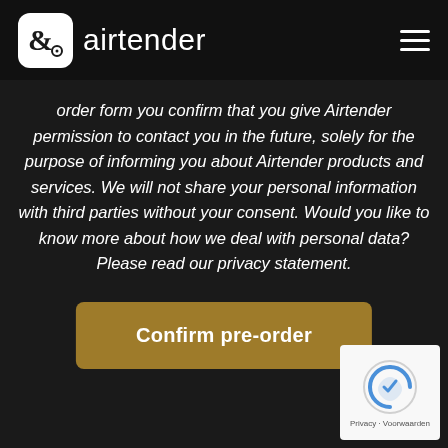airtender
order form you confirm that you give Airtender permission to contact you in the future, solely for the purpose of informing you about Airtender products and services. We will not share your personal information with third parties without your consent. Would you like to know more about how we deal with personal data? Please read our privacy statement.
Confirm pre-order
[Figure (logo): reCAPTCHA badge with Privacy · Voorwaarden text]